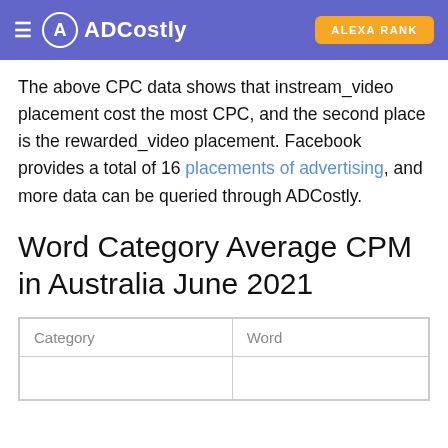ADCostly | ALEXA RANK
The above CPC data shows that instream_video placement cost the most CPC, and the second place is the rewarded_video placement. Facebook provides a total of 16 placements of advertising, and more data can be queried through ADCostly.
Word Category Average CPM in Australia June 2021
| Category | Word |
| --- | --- |
|  |  |